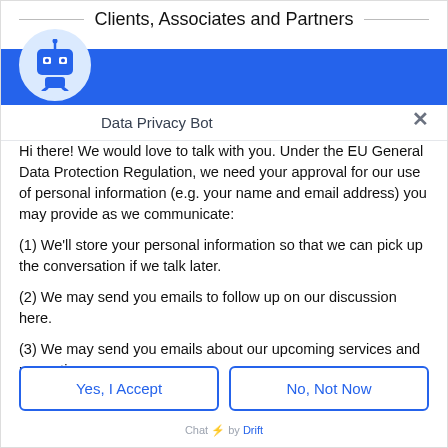Clients, Associates and Partners
[Figure (illustration): Robot/bot icon in a light blue circle, representing a Data Privacy Bot chatbot avatar]
Data Privacy Bot
Hi there! We would love to talk with you. Under the EU General Data Protection Regulation, we need your approval for our use of personal information (e.g. your name and email address) you may provide as we communicate:
(1) We'll store your personal information so that we can pick up the conversation if we talk later.
(2) We may send you emails to follow up on our discussion here.
(3) We may send you emails about our upcoming services and promotions.
Yes, I Accept
No, Not Now
Chat ⚡ by Drift